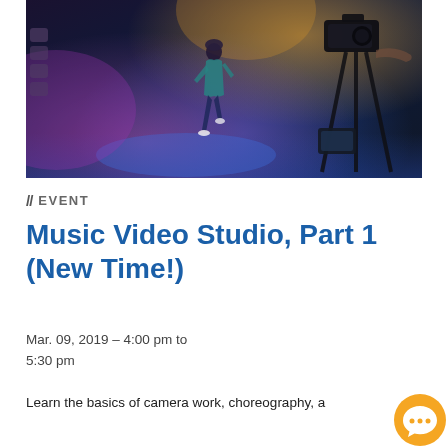[Figure (photo): A dancer in a teal/green jacket performing on a dark stage with dramatic lighting (purple, orange, blue), with a professional video camera on a tripod visible in the foreground right.]
// EVENT
Music Video Studio, Part 1 (New Time!)
Mar. 09, 2019 - 4:00 pm to
5:30 pm
Learn the basics of camera work, choreography, a- ndition...